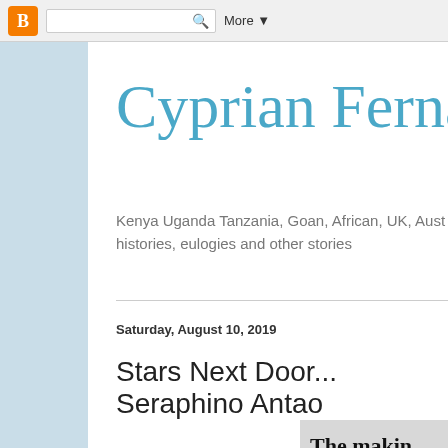Blogger navbar with logo, search bar, More
Cyprian Ferna
Kenya Uganda Tanzania, Goan, African, UK, Aust histories, eulogies and other stories
Saturday, August 10, 2019
Stars Next Door... Seraphino Antao
[Figure (photo): Newspaper clipping showing text 'The making Commonw']